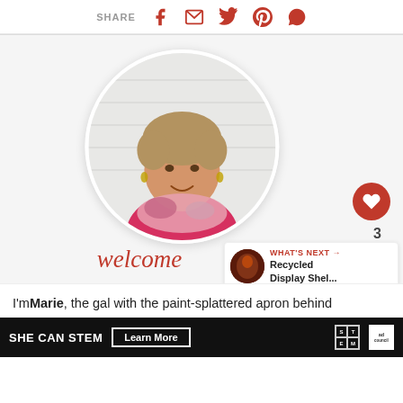SHARE
[Figure (photo): Circular profile photo of a smiling middle-aged woman with short blonde-brown hair, wearing a pink top and floral scarf, against a white shiplap background]
welcome
I'm Marie, the gal with the paint-splattered apron behind
[Figure (infographic): WHAT'S NEXT arrow label with thumbnail image for Recycled Display Shel...]
[Figure (infographic): SHE CAN STEM advertisement banner with Learn More button, STEM logo grid, and ad council logo]